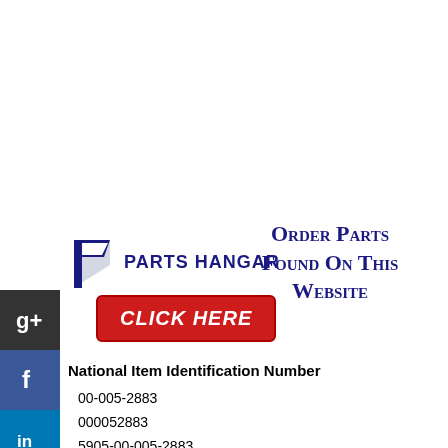[Figure (logo): Parts Hangar logo with stylized P icon and company name]
Order Parts Found On This Website
[Figure (other): Red CLICK HERE button]
[Figure (other): Social media sidebar buttons: Google+, Facebook, LinkedIn, Twitter, Share, StumbleUpon]
National Item Identification Number
00-005-2883
000052883
5905-00-005-2883
5905000052883
National Stock Number